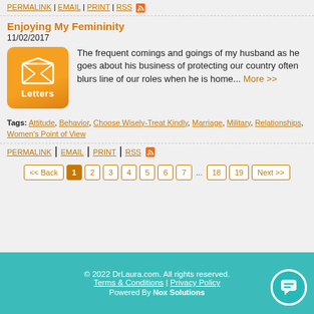PERMALINK | EMAIL | PRINT | RSS
Enjoying My Femininity
11/02/2017
The frequent comings and goings of my husband as he goes about his business of protecting our country often blurs line of our roles when he is home... More >>
Tags: Attitude, Behavior, Choose Wisely-Treat Kindly, Marriage, Military, Relationships, Women's Point of View
PERMALINK | EMAIL | PRINT | RSS
<< Back 1 2 3 4 5 6 7 ... 18 19 Next >>
© 2022 DrLaura.com. All rights reserved. Terms & Conditions | Privacy Policy Powered By Nox Solutions